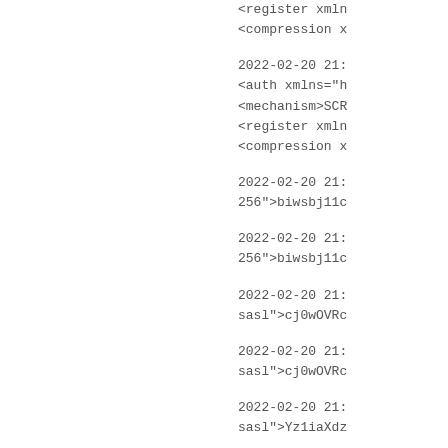<register xmln
<compression x
2022-02-20 21:
<auth xmlns="h
<mechanism>SCR
<register xmln
<compression x
2022-02-20 21:
256">biwsbj11c
2022-02-20 21:
256">biwsbj11c
2022-02-20 21:
sasl">cj0wOVRc
2022-02-20 21:
sasl">cj0wOVRc
2022-02-20 21:
sasl">Yz1iaXdz
2022-02-20 21:
sasl">Yz1iaXdz